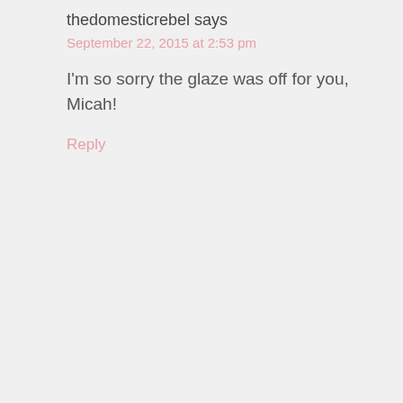thedomesticrebel says
September 22, 2015 at 2:53 pm
I'm so sorry the glaze was off for you, Micah!
Reply
[Figure (illustration): Blue circle accessibility icon with a white human figure in the center]
Christina says
September 29, 2015 at 9:35 am
When making any glaze or icing with powdered sugar,